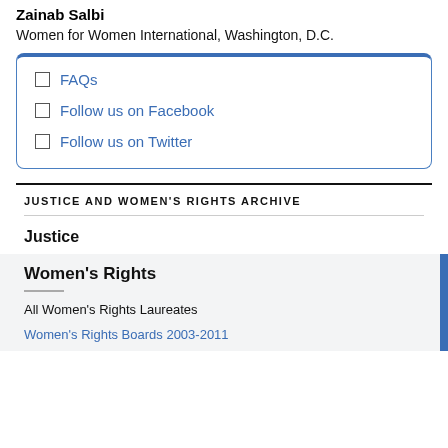Zainab Salbi
Women for Women International, Washington, D.C.
FAQs
Follow us on Facebook
Follow us on Twitter
JUSTICE AND WOMEN'S RIGHTS ARCHIVE
Justice
Women's Rights
All Women's Rights Laureates
Women's Rights Boards 2003-2011